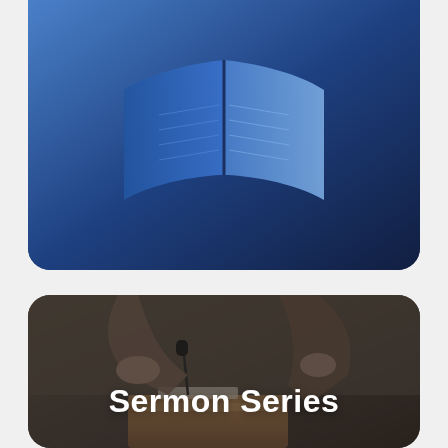[Figure (photo): Top card: blue-toned image of an open book against a dark blue background, rounded bottom corners]
[Figure (photo): Bottom card: photo of a person gesturing with raised hands at a podium with a microphone, dark overlay. Text 'Sermon Series' overlaid in bold white.]
Sermon Series